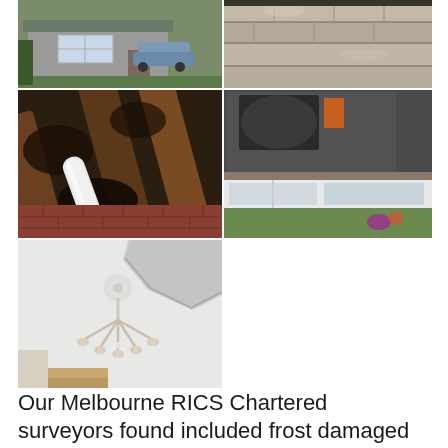[Figure (photo): Collage of 5 property survey photographs: top-left shows a brick bungalow with a car in the driveway; top-right shows frost-damaged stonework/coping; middle-left shows dark timber roof joists with a white plastic waste pipe and signs of damp/rot; middle-right shows a flat roof area with a conservatory or extension viewed from above; bottom-left shows an interior ceiling with a chandelier and a section of detached/sagging plasterboard ceiling.]
Our Melbourne RICS Chartered surveyors found included frost damaged